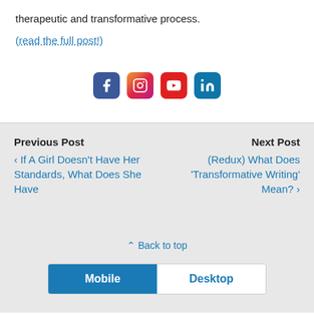therapeutic and transformative process.
(read the full post!)
[Figure (other): Social media icons: Facebook, Instagram, YouTube, LinkedIn]
Previous Post
< If A Girl Doesn't Have Her Standards, What Does She Have
Next Post
(Redux) What Does 'Transformative Writing' Mean? >
^ Back to top
Mobile | Desktop